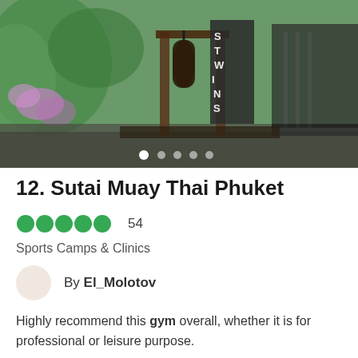[Figure (photo): Outdoor Muay Thai gym with punching bags, wooden structures, green foliage and purple flowers. Sign visible reading 'TWINS'.]
12. Sutai Muay Thai Phuket
●●●●● 54
Sports Camps & Clinics
By El_Molotov
Highly recommend this gym overall, whether it is for professional or leisure purpose.